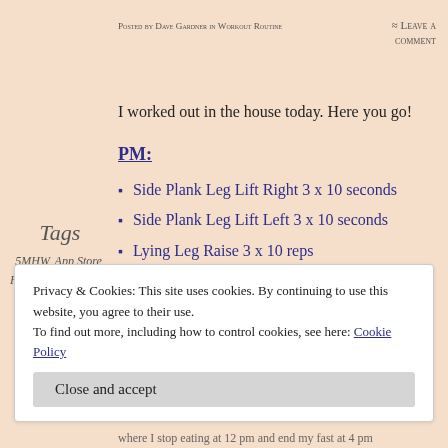Posted by Dave Gardner in Workout Routine
≈ Leave a comment
I worked out in the house today. Here you go!
PM:
Tags
5MHW, App Store, Healthy, Intermittent Fasting, Keto, Living Healthy, Weight Loss
Side Plank Leg Lift Right 3 x 10 seconds
Side Plank Leg Lift Left 3 x 10 seconds
Lying Leg Raise 3 x 10 reps
Plank 3 x 10 seconds
Cross Over Crunch Right 3 x 10 reps
Cross Over Crunch Left 3 x 10 reps
Privacy & Cookies: This site uses cookies. By continuing to use this website, you agree to their use. To find out more, including how to control cookies, see here: Cookie Policy
where I stop eating at 12 pm and end my fast at 4 pm